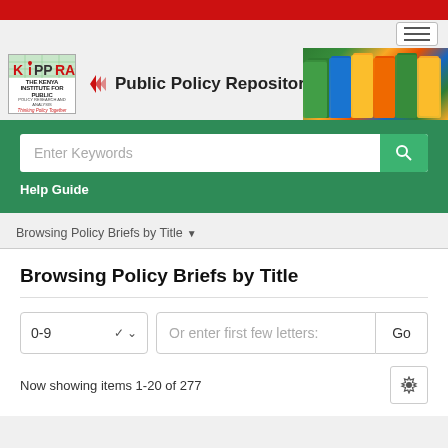[Figure (logo): KIPPRA logo with grid background and tagline 'Thinking Policy Together']
Public Policy Repository
[Figure (photo): Stack of colorful policy brief booklets/publications]
Enter Keywords
Help Guide
Browsing Policy Briefs by Title
Browsing Policy Briefs by Title
0-9
Or enter first few letters:
Go
Now showing items 1-20 of 277